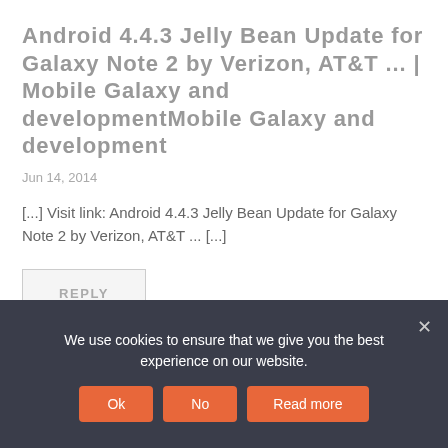Android 4.4.3 Jelly Bean Update for Galaxy Note 2 by Verizon, AT&T ... | Mobile Galaxy and developmentMobile Galaxy and development
Jun 14, 2014
[...] Visit link: Android 4.4.3 Jelly Bean Update for Galaxy Note 2 by Verizon, AT&T ... [...]
REPLY
We use cookies to ensure that we give you the best experience on our website.
Ok   No   Read more